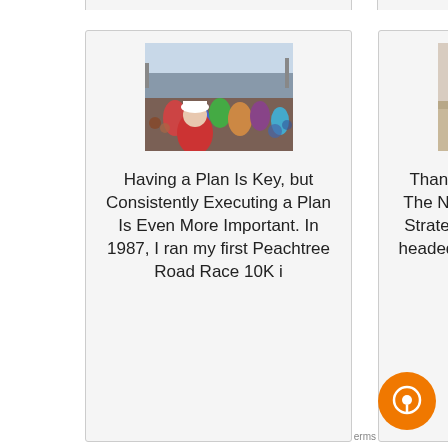[Figure (photo): Crowd of marathon runners at a race event, with a runner in white hat visible in foreground]
Having a Plan Is Key, but Consistently Executing a Plan Is Even More Important. In 1987, I ran my first Peachtree Road Race 10K i
[Figure (photo): Two men looking at a laptop computer together in a business setting]
Thanks For Signing Up For The NAMS Business Growth Strategies Summit Access is headed to your inbox. (Please check